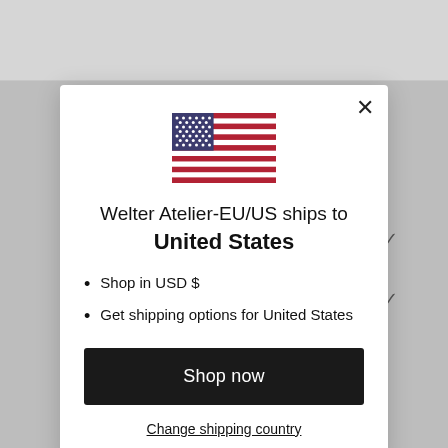[Figure (screenshot): A modal dialog on a Welter Atelier e-commerce website. The modal shows a US flag, text 'Welter Atelier-EU/US ships to United States', bullet points listing 'Shop in USD $' and 'Get shipping options for United States', a 'Shop now' dark button, and a 'Change shipping country' underlined link. Background shows gray overlay over a website header.]
Welter Atelier-EU/US ships to United States
Shop in USD $
Get shipping options for United States
Shop now
Change shipping country